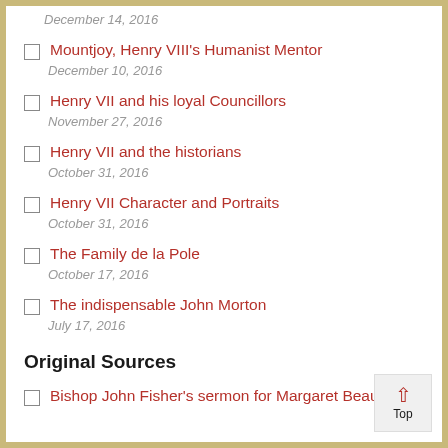December 14, 2016
Mountjoy, Henry VIII's Humanist Mentor
December 10, 2016
Henry VII and his loyal Councillors
November 27, 2016
Henry VII and the historians
October 31, 2016
Henry VII Character and Portraits
October 31, 2016
The Family de la Pole
October 17, 2016
The indispensable John Morton
July 17, 2016
Original Sources
Bishop John Fisher's sermon for Margaret Beaufort's